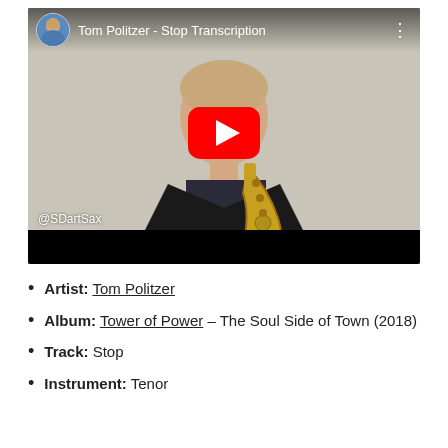[Figure (screenshot): YouTube video thumbnail showing Tom Politzer playing saxophone, with video title 'Tom Politzer - Stop Transcription', play button overlay, channel avatar, @SDartSax watermark, and black progress bar at bottom.]
Artist: Tom Politzer
Album: Tower of Power – The Soul Side of Town (2018)
Track: Stop
Instrument: Tenor